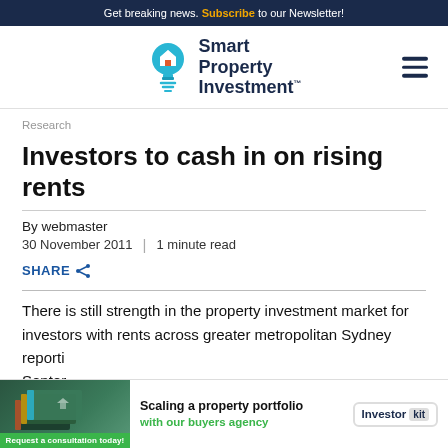Get breaking news. Subscribe to our Newsletter!
[Figure (logo): Smart Property Investment logo with light bulb icon]
Research
Investors to cash in on rising rents
By webmaster
30 November 2011  |  1 minute read
SHARE
There is still strength in the property investment market for investors with rents across greater metropolitan Sydney reporti... Septer...
[Figure (infographic): Advertisement banner: Scaling a property portfolio with our buyers agency - Investor Kit. Request a consultation today!]